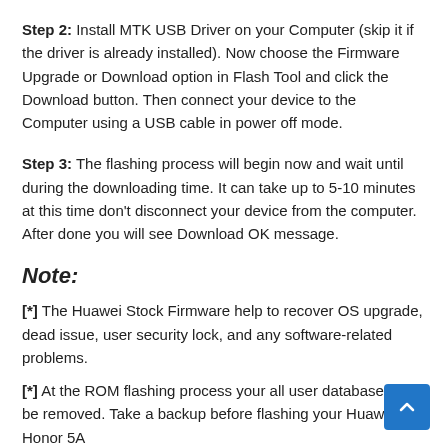Step 2: Install MTK USB Driver on your Computer (skip it if the driver is already installed). Now choose the Firmware Upgrade or Download option in Flash Tool and click the Download button. Then connect your device to the Computer using a USB cable in power off mode.
Step 3: The flashing process will begin now and wait until during the downloading time. It can take up to 5-10 minutes at this time don't disconnect your device from the computer. After done you will see Download OK message.
Note:
[*] The Huawei Stock Firmware help to recover OS upgrade, dead issue, user security lock, and any software-related problems.
[*] At the ROM flashing process your all user database will be removed. Take a backup before flashing your Huawei Honor 5A